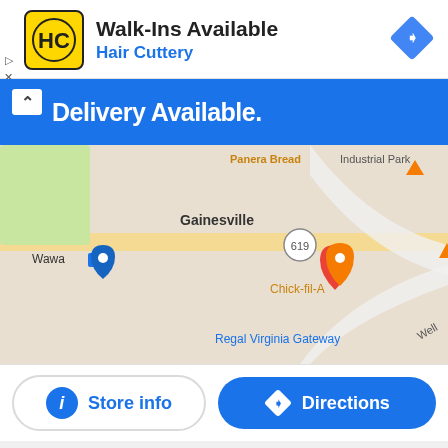[Figure (logo): Hair Cuttery logo - yellow square with HC letters and black border]
Walk-Ins Available
Hair Cuttery
[Figure (map): Google Maps showing Gainesville area with markers for Panera Bread, Best Buy, Wawa, Chick-fil-A, and Regal Virginia Gateway]
Delivery Available.
Store info
Directions
- Advertisement -
[Figure (photo): Food advertisement showing bread rolls and fried chicken on a plate]